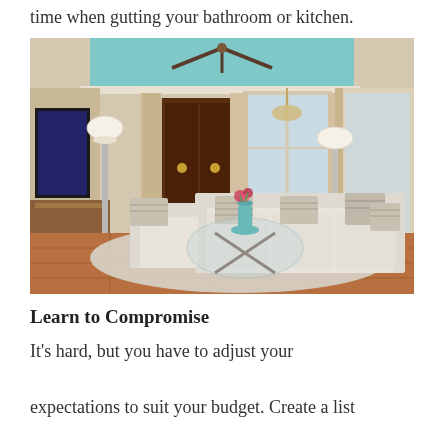time when gutting your bathroom or kitchen.
[Figure (photo): Elegant living room with cream sectional sofa, chevron patterned pillows, glass coffee table with teal vase, shag rug, hardwood floors, teal painted ceiling with fan, tall windows with beige curtains, dark wood armoire, and floor lamp.]
Learn to Compromise
It's hard, but you have to adjust your expectations to suit your budget. Create a list of must-haves and another list for nice-to-